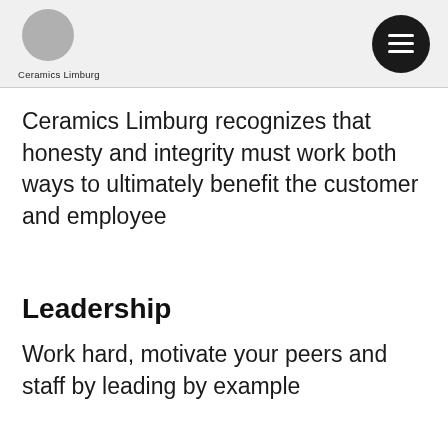Ceramics Limburg
Ceramics Limburg recognizes that honesty and integrity must work both ways to ultimately benefit the customer and employee
Leadership
Work hard, motivate your peers and staff by leading by example